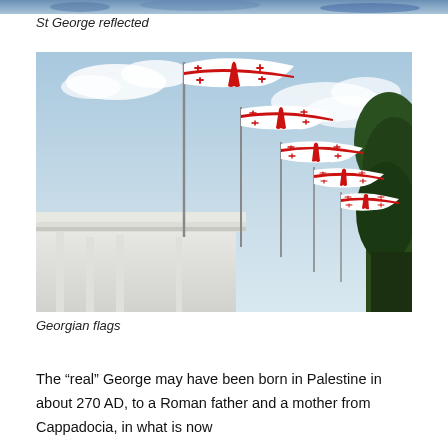[Figure (photo): Partial top strip of a photo showing St George reflected, visible at very top of page]
St George reflected
[Figure (photo): Multiple Georgian flags (white with red cross and four smaller red crosses) flying from flagpoles above a white building cornice against a blue sky, with a dark green tree on the right]
Georgian flags
The “real” George may have been born in Palestine in about 270 AD, to a Roman father and a mother from Cappadocia, in what is now